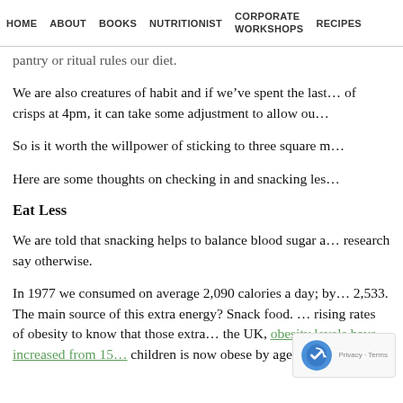HOME  ABOUT  BOOKS  NUTRITIONIST  CORPORATE WORKSHOPS  RECIPES
pantry or ritual rules our diet.
We are also creatures of habit and if we've spent the last … of crisps at 4pm, it can take some adjustment to allow ou…
So is it worth the willpower of sticking to three square m…
Here are some thoughts on checking in and snacking les…
Eat Less
We are told that snacking helps to balance blood sugar a… research say otherwise.
In 1977 we consumed on average 2,090 calories a day; by… 2,533. The main source of this extra energy? Snack food. … rising rates of obesity to know that those extra… the UK, obesity levels have increased from 15… children is now obese by age 11.